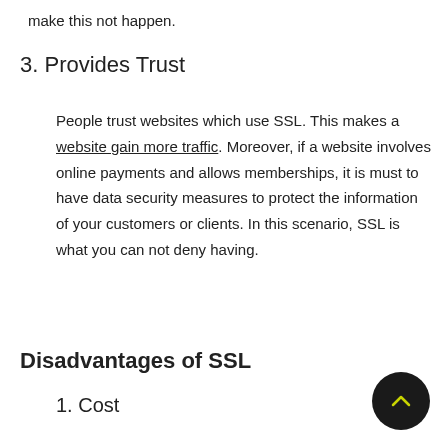make this not happen.
3. Provides Trust
People trust websites which use SSL. This makes a website gain more traffic. Moreover, if a website involves online payments and allows memberships, it is must to have data security measures to protect the information of your customers or clients. In this scenario, SSL is what you can not deny having.
Disadvantages of SSL
1. Cost